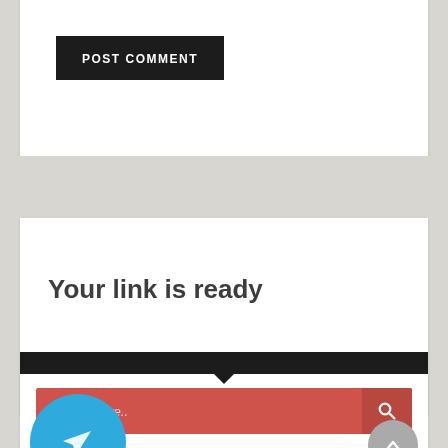[Figure (screenshot): POST COMMENT button - dark/black rectangular button with white uppercase text]
Your link is ready
[Figure (screenshot): Search bar with red/salmon background, italic placeholder text 'Search here..' and a search icon button on the right]
[Figure (screenshot): Telegram icon circle (blue with paper plane icon) and a grey scroll-to-top arrow circle button on the right]